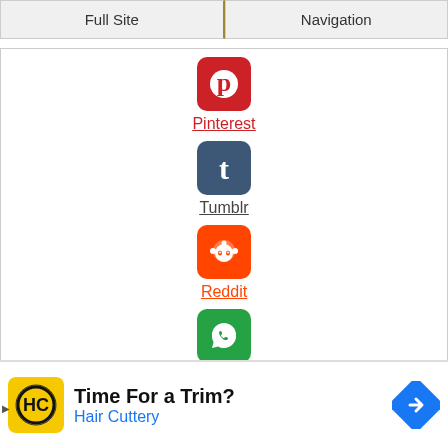Full Site | Navigation
[Figure (logo): Pinterest logo icon - red rounded square with white P]
Pinterest
[Figure (logo): Tumblr logo icon - dark blue rounded square with white t]
Tumblr
[Figure (logo): Reddit logo icon - orange rounded square with white Reddit alien]
Reddit
[Figure (logo): WhatsApp logo icon - green rounded square with white phone/chat]
WhatsApp
[Figure (logo): Messenger logo icon - blue circle with white lightning bolt]
Messenger
[Figure (infographic): Advertisement: Hair Cuttery - Time For a Trim? with HC logo and navigation arrow icon]